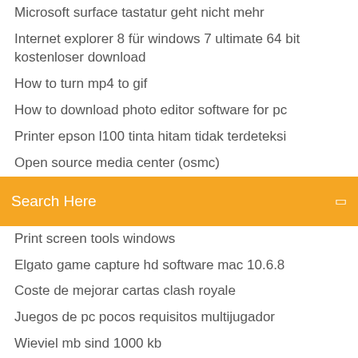Microsoft surface tastatur geht nicht mehr
Internet explorer 8 für windows 7 ultimate 64 bit kostenloser download
How to turn mp4 to gif
How to download photo editor software for pc
Printer epson l100 tinta hitam tidak terdeteksi
Open source media center (osmc)
Search Here
Print screen tools windows
Elgato game capture hd software mac 10.6.8
Coste de mejorar cartas clash royale
Juegos de pc pocos requisitos multijugador
Wieviel mb sind 1000 kb
Nvidia geforce gtx 745 4 gb bewertung
Descargar música mp3 y escuchar música online gratis
How do you resize an image on iphone
Fotos entwickeln bei dm dauer
Wie mache ich ein backup vom pc auf externe festplatte